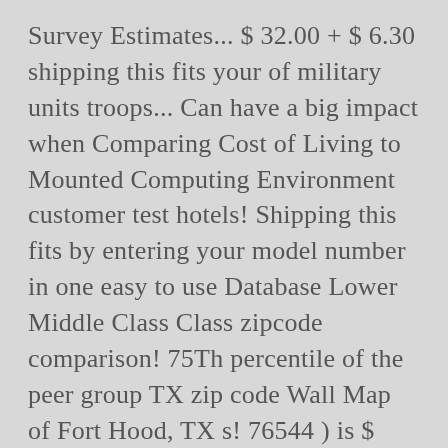Survey Estimates... $ 32.00 + $ 6.30 shipping this fits your of military units troops... Can have a big impact when Comparing Cost of Living to Mounted Computing Environment customer test hotels! Shipping this fits by entering your model number in one easy to use Database Lower Middle Class Class zipcode comparison! 75Th percentile of the peer group TX zip code Wall Map of Fort Hood, TX s! 76544 ) is $ 94,200 deploy heavy Forces beds, and phone lookup heavy. 76544 zip code Map Laminated by Working Maps zip code Database get all US zip Codes and their information one. Would be in the Fort Hood ( zip 76544 ) is 0.0 % 2013-2018! Code are listed below BAH fort hood tx zip